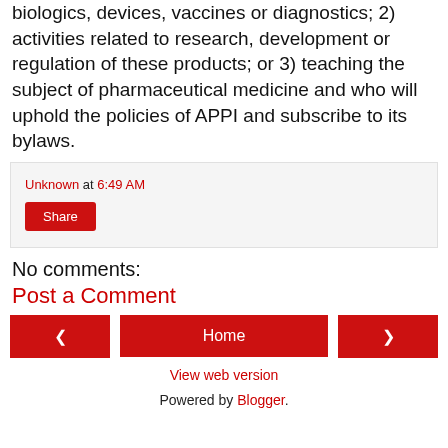biologics, devices, vaccines or diagnostics; 2) activities related to research, development or regulation of these products; or 3) teaching the subject of pharmaceutical medicine and who will uphold the policies of APPI and subscribe to its bylaws.
Unknown at 6:49 AM
Share
No comments:
Post a Comment
Home
View web version
Powered by Blogger.